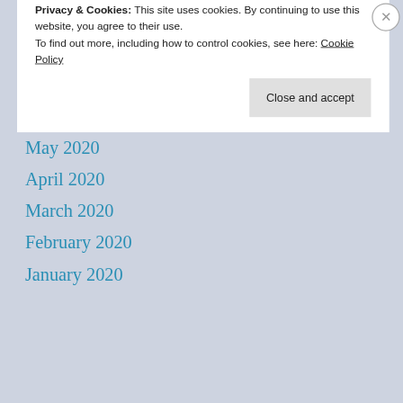September 2020
August 2020
July 2020
June 2020
May 2020
April 2020
March 2020
February 2020
January 2020
Privacy & Cookies: This site uses cookies. By continuing to use this website, you agree to their use.
To find out more, including how to control cookies, see here: Cookie Policy
Close and accept